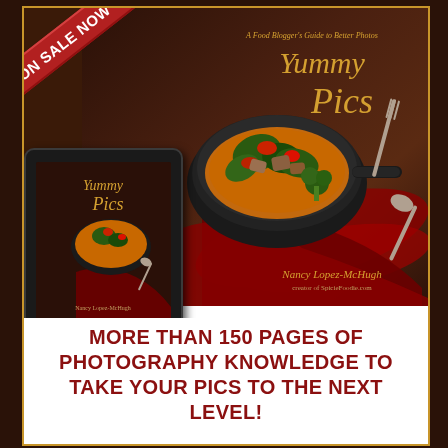[Figure (illustration): Advertisement for 'Yummy Pics: A Food Blogger's Guide to Better Photos' by Nancy Lopez-McHugh. Shows book cover with food photography (stir-fry dish in dark pan with red ribbon), and a Kindle device showing the same book cover. An 'ON SALE NOW' red ribbon banner in top-left corner.]
MORE THAN 150 PAGES OF PHOTOGRAPHY KNOWLEDGE TO TAKE YOUR PICS TO THE NEXT LEVEL!